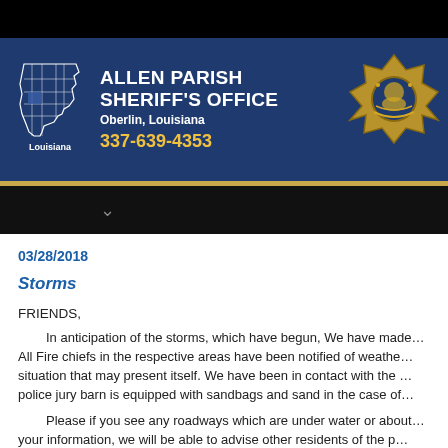[Figure (logo): Allen Parish Sheriff's Office header banner with Louisiana state map outline, badge/star logo, office name, location, and phone number on dark navy background]
03/28/2018
Storms
FRIENDS,
In anticipation of the storms, which have begun, We have made… All Fire chiefs in the respective areas have been notified of weathe… situation that may present itself. We have been in contact with the … police jury barn is equipped with sandbags and sand in the case of…
Please if you see any roadways which are under water or about… your information, we will be able to advise other residents of the p…